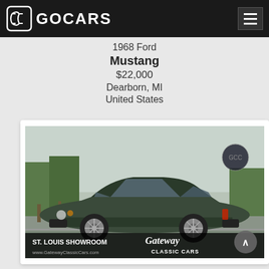GOCARS
1968 Ford Mustang
$22,000
Dearborn, MI
United States
[Figure (photo): Dark green Ford Mustang coupe photographed outdoors, displayed in a Gateway Classic Cars St. Louis Showroom advertisement with logo and website www.GatewayClassicCars.com]